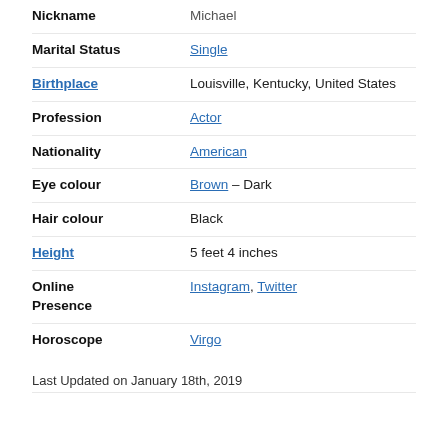| Field | Value |
| --- | --- |
| Nickname | Michael |
| Marital Status | Single |
| Birthplace | Louisville, Kentucky, United States |
| Profession | Actor |
| Nationality | American |
| Eye colour | Brown – Dark |
| Hair colour | Black |
| Height | 5 feet 4 inches |
| Online Presence | Instagram, Twitter |
| Horoscope | Virgo |
Last Updated on January 18th, 2019